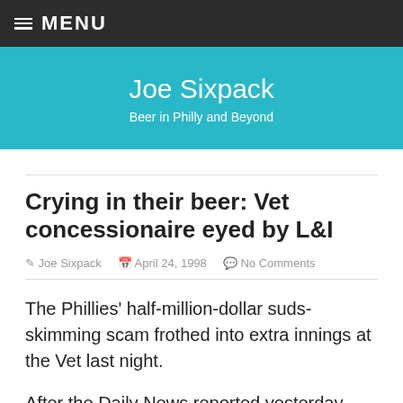MENU
Joe Sixpack
Beer in Philly and Beyond
Crying in their beer: Vet concessionaire eyed by L&I
Joe Sixpack   April 24, 1998   No Comments
The Phillies' half-million-dollar suds-skimming scam frothed into extra innings at the Vet last night.
After the Daily News reported yesterday that the stadium was selling short cups of brew at baseball